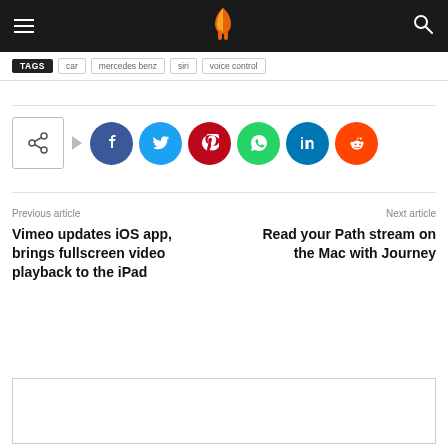Mobigyaan – hamburger menu, logo, search
TAGS  car  mercedes benz  siri  voice control
[Figure (infographic): Share button with arrow and social media icons: Facebook, Twitter, Pinterest, WhatsApp, LinkedIn, Reddit]
Previous article
Vimeo updates iOS app, brings fullscreen video playback to the iPad
Next article
Read your Path stream on the Mac with Journey